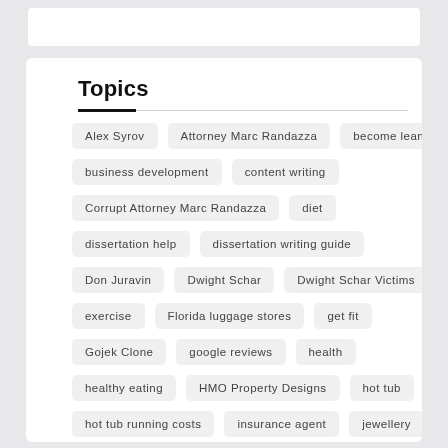Topics
Alex Syrov
Attorney Marc Randazza
become leaner
business development
content writing
Corrupt Attorney Marc Randazza
diet
dissertation help
dissertation writing guide
Don Juravin
Dwight Schar
Dwight Schar Victims
exercise
Florida luggage stores
get fit
Gojek Clone
google reviews
health
healthy eating
HMO Property Designs
hot tub
hot tub running costs
insurance agent
jewellery